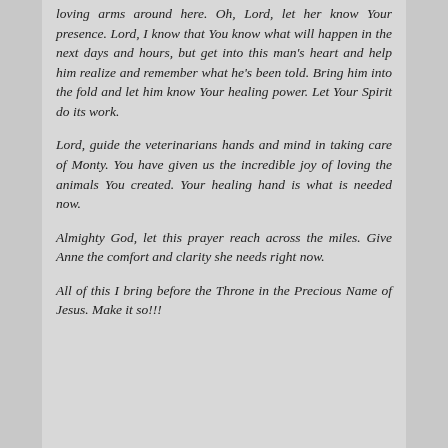loving arms around here. Oh, Lord, let her know Your presence. Lord, I know that You know what will happen in the next days and hours, but get into this man's heart and help him realize and remember what he's been told. Bring him into the fold and let him know Your healing power. Let Your Spirit do its work.
Lord, guide the veterinarians hands and mind in taking care of Monty. You have given us the incredible joy of loving the animals You created. Your healing hand is what is needed now.
Almighty God, let this prayer reach across the miles. Give Anne the comfort and clarity she needs right now.
All of this I bring before the Throne in the Precious Name of Jesus. Make it so!!!